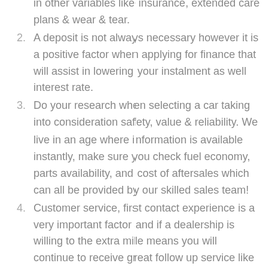in other variables like insurance, extended care plans & wear & tear.
2. A deposit is not always necessary however it is a positive factor when applying for finance that will assist in lowering your instalment as well interest rate.
3. Do your research when selecting a car taking into consideration safety, value & reliability. We live in an age where information is available instantly, make sure you check fuel economy, parts availability, and cost of aftersales which can all be provided by our skilled sales team!
4. Customer service, first contact experience is a very important factor and if a dealership is willing to the extra mile means you will continue to receive great follow up service like our friendly sales guys at CMH Honda Umhlanga.
5. Always inspect the paperwork for the fine print